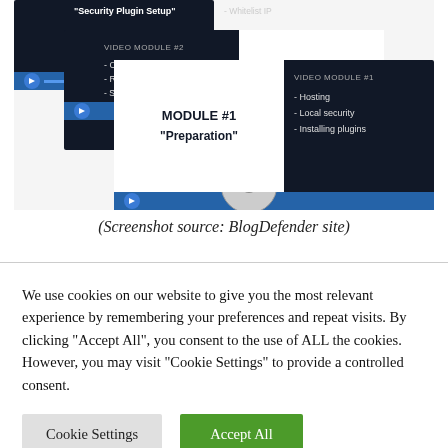[Figure (screenshot): Screenshot from BlogDefender site showing stacked video module cards: Module #1 Preparation, Module #2 Backup WordPress, with video module details including topics like Hosting, Local security, Installing plugins, Choose Backup locations, Run First Backup, Whitelist IP]
(Screenshot source: BlogDefender site)
We use cookies on our website to give you the most relevant experience by remembering your preferences and repeat visits. By clicking "Accept All", you consent to the use of ALL the cookies. However, you may visit "Cookie Settings" to provide a controlled consent.